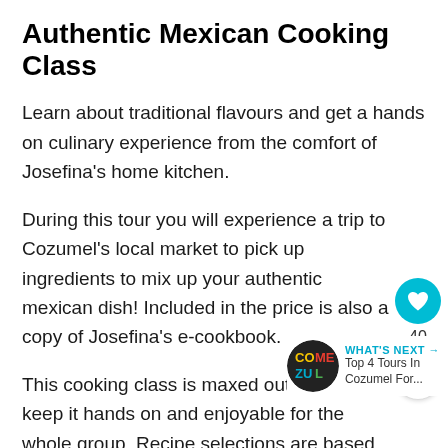Authentic Mexican Cooking Class
Learn about traditional flavours and get a hands on culinary experience from the comfort of Josefina's home kitchen.
During this tour you will experience a trip to Cozumel's local market to pick up ingredients to mix up your authentic mexican dish! Included in the price is also a copy of Josefina's e-cookbook.
This cooking class is maxed out at 8 to keep it hands on and enjoyable for the whole group. Recipe selections are based on